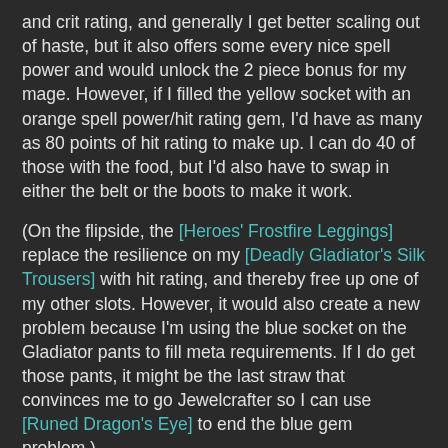and crit rating, and generally I get better scaling out of haste, but it also offers some every nice spell power and would unlock the 2 piece bonus for my mage. However, if I filled the yellow socket with an orange spell power/hit rating gem, I'd have as many as 80 points of hit rating to make up. I can do 40 of those with the food, but I'd also have to swap in either the belt or the boots to make it work.
(On the flipside, the [Heroes' Frostfire Leggings] replace the resilience on my [Deadly Gladiator's Silk Trousers] with hit rating, and thereby free up one of my other slots. However, it would also create a new problem because I'm using the blue socket on the Gladiator pants to fill meta requirements. If I do get those pants, it might be the last straw that convinces me to go Jewelcrafter so I can use [Runed Dragon's Eye] to end the blue gem problem.)
Is the blogger more crazy than the game?
All of which brings me back to the question I asked the first time I talked about this issue. Is having a hit cap that I have to try and reach, but not exceed, really the best design for this system? I don't know, but I'd like to think that it's not just